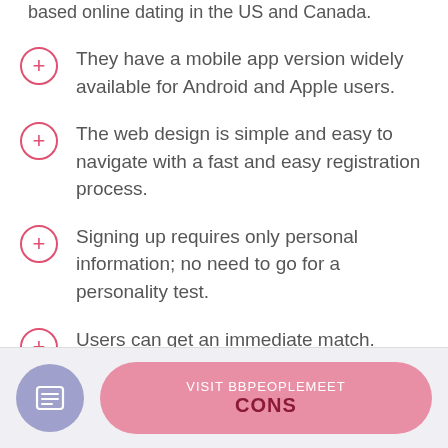based online dating in the US and Canada.
They have a mobile app version widely available for Android and Apple users.
The web design is simple and easy to navigate with a fast and easy registration process.
Signing up requires only personal information; no need to go for a personality test.
Users can get an immediate match.
VISIT BBPEOPLEMEET CONS